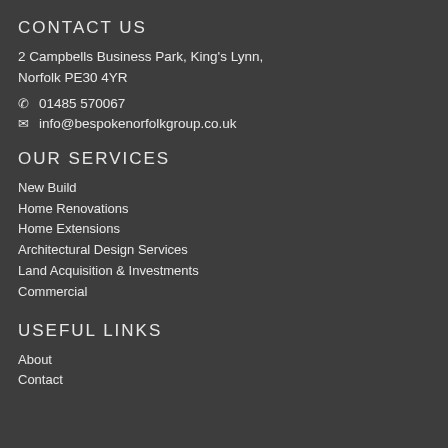CONTACT US
2 Campbells Business Park, King's Lynn, Norfolk PE30 4YR
01485 570067
info@bespokenorfolkgroup.co.uk
OUR SERVICES
New Build
Home Renovations
Home Extensions
Architectural Design Services
Land Acquisition & Investments
Commercial
USEFUL LINKS
About
Contact